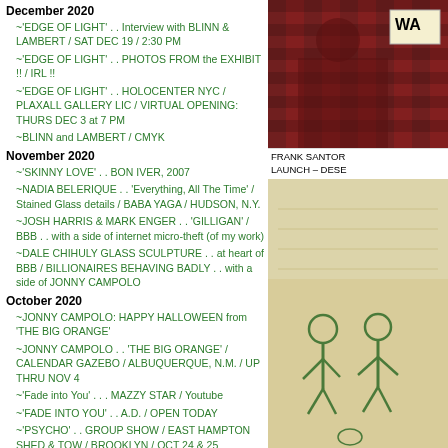December 2020
~'EDGE OF LIGHT' . . Interview with BLINN & LAMBERT / SAT DEC 19 / 2:30 PM
~'EDGE OF LIGHT' . . PHOTOS FROM the EXHIBIT !! / IRL !!
~'EDGE OF LIGHT' . . HOLOCENTER NYC / PLAXALL GALLERY LIC / VIRTUAL OPENING: THURS DEC 3 at 7 PM
~BLINN and LAMBERT / CMYK
November 2020
~'SKINNY LOVE' . . BON IVER, 2007
~NADIA BELERIQUE . . 'Everything, All The Time' / Stained Glass details / BABA YAGA / HUDSON, N.Y.
~JOSH HARRIS & MARK ENGER . . 'GILLIGAN' / BBB . . with a side of internet micro-theft (of my work)
~DALE CHIHULY GLASS SCULPTURE . . at heart of BBB / BILLIONAIRES BEHAVING BADLY . . with a side of JONNY CAMPOLO
October 2020
~JONNY CAMPOLO: HAPPY HALLOWEEN from 'THE BIG ORANGE'
~JONNY CAMPOLO . . 'THE BIG ORANGE' / CALENDAR GAZEBO / ALBUQUERQUE, N.M. / UP THRU NOV 4
~'Fade into You' . . . MAZZY STAR / Youtube
~'FADE INTO YOU' . . A.D. / OPEN TODAY
~'PSYCHO' . . GROUP SHOW / EAST HAMPTON SHED & TOW / BROOKLYN / OCT 24 & 25
~DANIEL GIORDANO, MARCY HERMANSADER & CAITLIN MacQUEEN . . 'THE HUNCH' / MOTHER GALLERY, BEACON NY / OPENS SAT 31
~DANIEL GIORDANO, KATY GRANNAN, KARA HAMILTON . . 'WE THE PEOPLE' / Art In America
~DIY: UTILITY INSTALLS / JEFFREY TRANCHELL & JONNY CAMPOLO
~DIY: DESIGN . . GLASS, GLASS & MORE GLASS / CERAMIC BRUT, FLOWER ARRANGING, and . . BRASS WORKING !!
[Figure (photo): Person in red and black plaid shirt, with a partial sign visible reading WA]
FRANK SANTOR
LAUNCH – DESE
[Figure (illustration): Green illustrated figures on beige/tan background, appearing to be an artistic print or illustration]